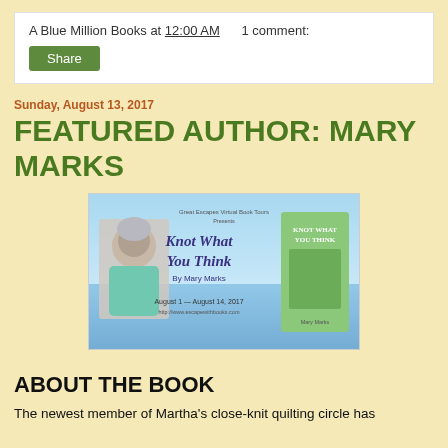A Blue Million Books at 12:00 AM   1 comment:
Share
Sunday, August 13, 2017
FEATURED AUTHOR: MARY MARKS
[Figure (illustration): Book tour banner for 'Knot What You Think' by Mary Marks, Great Escapes Virtual Book Tours, August 1 - August 14, 2017, featuring author photo and book cover]
ABOUT THE BOOK
The newest member of Martha's close-knit quilting circle has